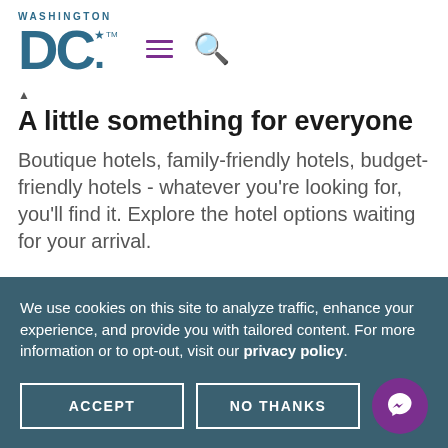[Figure (logo): Washington DC tourism logo with 'WASHINGTON' text above large 'DC' letters with star and dot, in teal/blue color]
A little something for everyone
Boutique hotels, family-friendly hotels, budget-friendly hotels - whatever you're looking for, you'll find it. Explore the hotel options waiting for your arrival.
We use cookies on this site to analyze traffic, enhance your experience, and provide you with tailored content. For more information or to opt-out, visit our privacy policy.
ACCEPT
NO THANKS